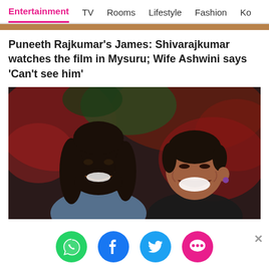Entertainment  TV  Rooms  Lifestyle  Fashion  Ko
Puneeth Rajkumar's James: Shivarajkumar watches the film in Mysuru; Wife Ashwini says 'Can't see him'
[Figure (photo): Two men laughing together in front of a red and green background. The man on the left has long hair and a beard; the man on the right is laughing with his head turned.]
[Figure (infographic): Four social sharing buttons: WhatsApp (green), Facebook (blue), Twitter (light blue), and a messaging/comment button (pink/red). A gray X close button appears to the right.]